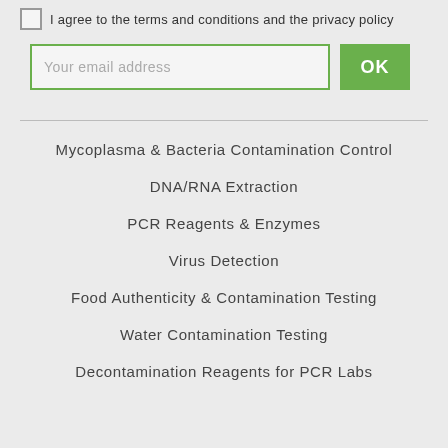I agree to the terms and conditions and the privacy policy
Mycoplasma & Bacteria Contamination Control
DNA/RNA Extraction
PCR Reagents & Enzymes
Virus Detection
Food Authenticity & Contamination Testing
Water Contamination Testing
Decontamination Reagents for PCR Labs